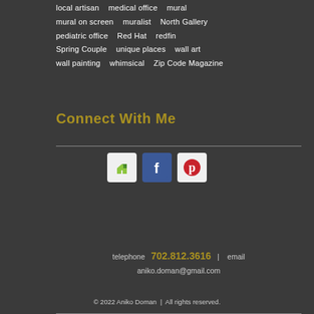local artisan   medical office   mural
mural on screen   muralist   North Gallery
pediatric office   Red Hat   redfin
Spring Couple   unique places   wall art
wall painting   whimsical   Zip Code Magazine
Connect With Me
[Figure (logo): Social media icons: Houzz, Facebook, Pinterest]
telephone  702.812.3616  |  email  aniko.doman@gmail.com
© 2022 Aniko Doman  |  All rights reserved.